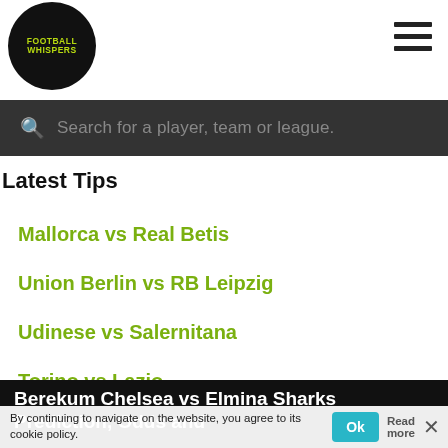Football Whispers
Latest Tips
Mallorca vs Real Betis
Union Berlin vs RB Leipzig
Udinese vs Salernitana
Torino vs Lazio
Bournemouth vs Arsenal
Berekum Chelsea vs Elmina Sharks Prediction, Odds and Betting Tips 20/09/2023
By continuing to navigate on the website, you agree to its cookie policy.